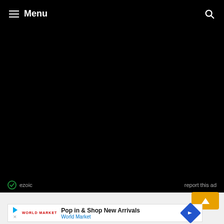Menu
[Figure (screenshot): Large black area representing a video or dark content area]
ezoic  report this ad
[Figure (screenshot): Orange scroll-to-top button]
[Figure (screenshot): Banner advertisement: Pop in & Shop New Arrivals - World Market]